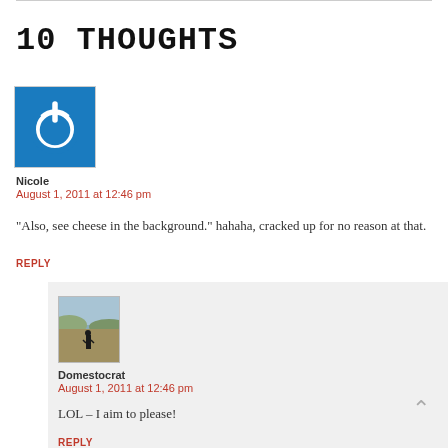10 THOUGHTS
[Figure (illustration): Blue square avatar with white power button icon (circle with vertical line at top)]
Nicole
August 1, 2011 at 12:46 pm
“Also, see cheese in the background.” hahaha, cracked up for no reason at that.
REPLY
[Figure (photo): Small photo of a person standing on a rocky hilltop with a desert landscape in the background]
Domestocrat
August 1, 2011 at 12:46 pm
LOL – I aim to please!
REPLY